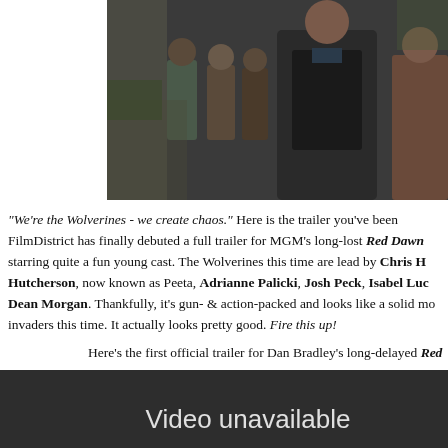[Figure (photo): Movie still from Red Dawn showing actors in an outdoor scene with a man in a dark jacket in the foreground and several others behind him near rocky terrain.]
"We're the Wolverines - we create chaos." Here is the trailer you've been FilmDistrict has finally debuted a full trailer for MGM's long-lost Red Dawn starring quite a fun young cast. The Wolverines this time are lead by Chris H Hutcherson, now known as Peeta, Adrianne Palicki, Josh Peck, Isabel Luc Dean Morgan. Thankfully, it's gun- & action-packed and looks like a solid mo invaders this time. It actually looks pretty good. Fire this up!
Here's the first official trailer for Dan Bradley's long-delayed Red Dawn
[Figure (screenshot): YouTube video player showing 'Video unavailable' error message with a circle exclamation icon and text reading 'This video is no longer available because the account associated with this video' on a dark gray background.]